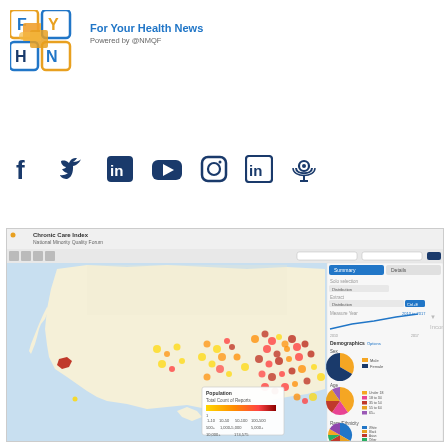[Figure (logo): For Your Health News logo with FYHN letters in colored squares and puzzle-piece graphic]
For Your Health News
Powered by @NMQF
[Figure (infographic): Social media icons row: Facebook, Twitter, LinkedIn, YouTube, Instagram, LinkedIn, Podcast]
[Figure (screenshot): Chronic Care Index map from National Minority Quality Forum showing heat map of US counties with demographic pie charts on right panel showing Sex, Age, and Race/Ethnicity distributions]